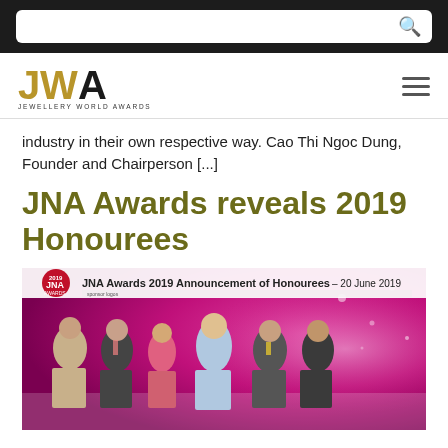[Search bar]
[Figure (logo): JWA Jewellery World Awards logo]
industry in their own respective way. Cao Thi Ngoc Dung, Founder and Chairperson [...]
JNA Awards reveals 2019 Honourees
[Figure (photo): Group photo at JNA Awards 2019 Announcement of Honourees – 20 June 2019. Six people standing in front of a pink/purple banner backdrop with JNA Awards branding and sponsor logos.]